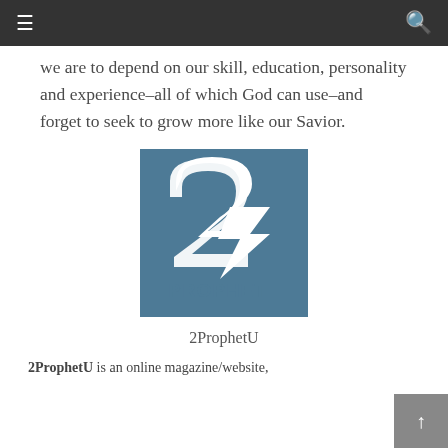≡  🔍
we are to depend on our skill, education, personality and experience–all of which God can use–and forget to seek to grow more like our Savior.
[Figure (logo): 2ProphetU logo: a teal/steel-blue square with a large stylized '2' and the word 'PROPHET' in block letters, with a white arrow/lightning bolt shape.]
2ProphetU
2ProphetU is an online magazine/website,